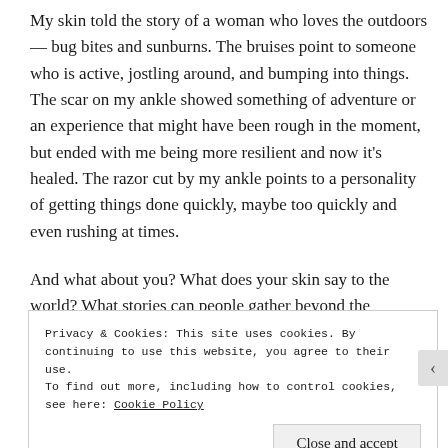My skin told the story of a woman who loves the outdoors— bug bites and sunburns. The bruises point to someone who is active, jostling around, and bumping into things. The scar on my ankle showed something of adventure or an experience that might have been rough in the moment, but ended with me being more resilient and now it's healed. The razor cut by my ankle points to a personality of getting things done quickly, maybe too quickly and even rushing at times.
And what about you? What does your skin say to the world? What stories can people gather beyond the
Privacy & Cookies: This site uses cookies. By continuing to use this website, you agree to their use.
To find out more, including how to control cookies, see here: Cookie Policy
Close and accept